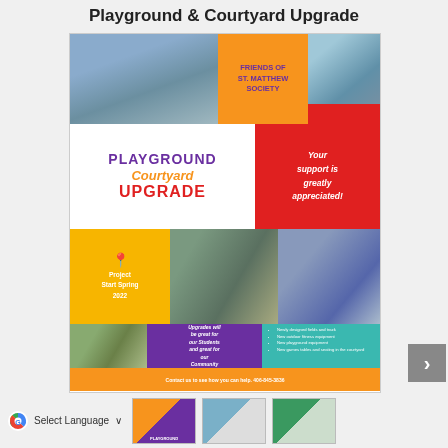Playground & Courtyard Upgrade
[Figure (infographic): Playground & Courtyard Upgrade fundraiser flyer for Friends of St. Matthew Society. Features photos of children on playground equipment and playing outdoors. Contains colored sections: orange with 'FRIENDS OF ST. MATTHEW SOCIETY', white with 'PLAYGROUND Courtyard UPGRADE', red with 'Your support is greatly appreciated!', yellow with location pin and 'Project Start Spring 2022', purple with 'Upgrades will be great for our Students and great for our Community', teal with bullet list of upgrades: Newly designed fields and track, New outdoor fitness equipment, New playground equipment, New games tables and seating in the courtyard. Orange contact bar at bottom: 'Contact us to see how you can help. 406-845-3836']
G Select Language ∨